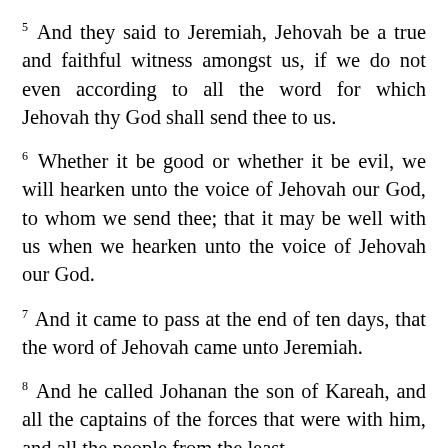5 And they said to Jeremiah, Jehovah be a true and faithful witness amongst us, if we do not even according to all the word for which Jehovah thy God shall send thee to us.
6 Whether it be good or whether it be evil, we will hearken unto the voice of Jehovah our God, to whom we send thee; that it may be well with us when we hearken unto the voice of Jehovah our God.
7 And it came to pass at the end of ten days, that the word of Jehovah came unto Jeremiah.
8 And he called Johanan the son of Kareah, and all the captains of the forces that were with him, and all the people from the least